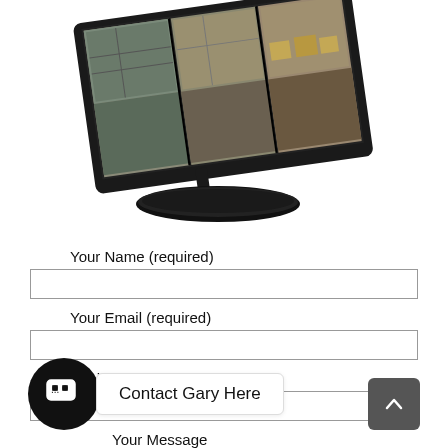[Figure (photo): A computer monitor displayed at an angle showing multiple CCTV/security camera feeds on screen, with a black stand and oval base.]
Your Name (required)
Your Email (required)
Subject
Contact Gary Here
Your Message